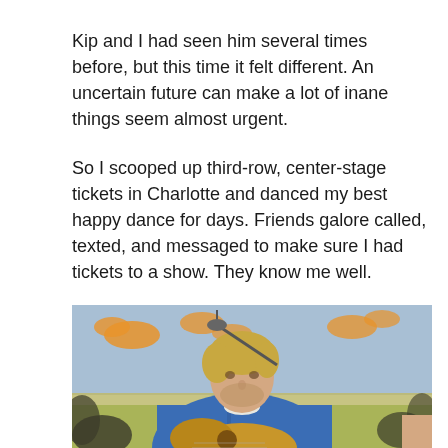Kip and I had seen him several times before, but this time it felt different.  An uncertain future can make a lot of inane things seem almost urgent.
So I scooped up third-row, center-stage tickets in Charlotte and danced my best happy dance for days. Friends galore called, texted, and messaged to make sure I had tickets to a show. They know me well.
[Figure (photo): A blond man in a blue denim shirt playing an acoustic guitar and singing into a microphone on stage, with a colorful painted backdrop behind him featuring orange and yellow shapes.]